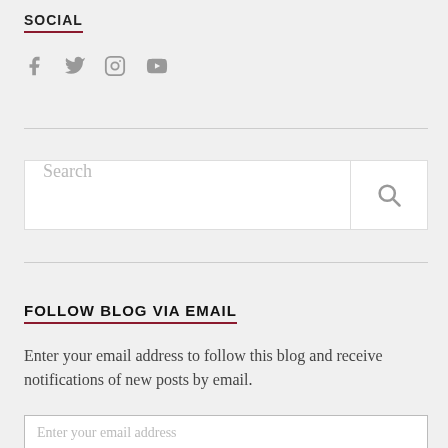SOCIAL
[Figure (illustration): Social media icons: Facebook, Twitter, Instagram, YouTube in gray]
FOLLOW BLOG VIA EMAIL
Enter your email address to follow this blog and receive notifications of new posts by email.
Enter your email address